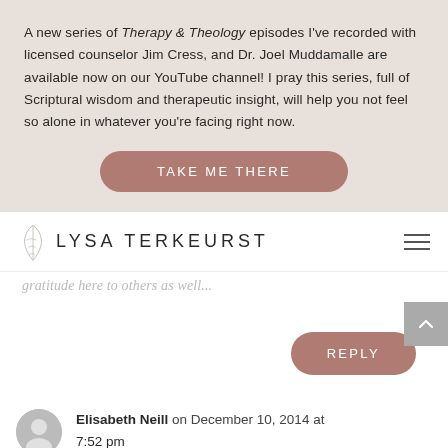A new series of Therapy & Theology episodes I've recorded with licensed counselor Jim Cress, and Dr. Joel Muddamalle are available now on our YouTube channel! I pray this series, full of Scriptural wisdom and therapeutic insight, will help you not feel so alone in whatever you're facing right now.
TAKE ME THERE
[Figure (logo): Lysa TerKeurst logo with decorative leaf/wheat motif and hamburger menu icon]
gratitude here to others as well...
REPLY
Elisabeth Neill on December 10, 2014 at 7:52 pm